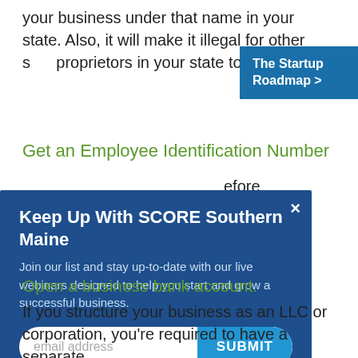your business under that name in your state. Also, it will make it illegal for other s... proprietors in your state to use tha...
[Figure (other): Blue banner button labeled 'The Startup Roadmap >']
Get an Employee Identification Number
...efore ...And
[Figure (other): Modal overlay popup: 'Keep Up With SCORE Southern Maine' with email signup form. Contains title, body text 'Join our list and stay up-to-date with our live webinars designed to help you start and grow a successful business.', email input field, and SUBMIT button.]
Open a business bank account.
If you structure your business as an LLC or corporation, you're required to have a separate